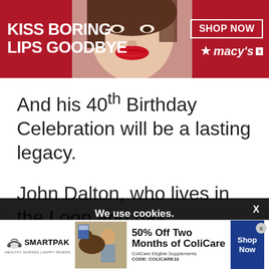[Figure (infographic): Macy's advertisement banner with red background. Text reads 'KISS BORING LIPS GOODBYE' with a woman's face showing red lips in center. Right side shows 'SHOP NOW' button and Macy's logo with star.]
And his 40th Birthday Celebration will be a lasting legacy.
John Dalton, who lives in the Loop and has
spent 18 years managing restaurants and bars, who turns 40 on [partial text behind overlay]
We use cookies. Yes, we use cookies to ensure we give you the best experience using this website. By closing this box or clicking on the continue button, you agree to our terms of use and consent to the use of
[Figure (infographic): SmartPak advertisement. Offers '50% Off Two Months of ColiCare'. Shows SmartPak logo, horse product image, and 'Shop Now' button. Code: COLICARE10. ColiCare Eligible Supplements.]